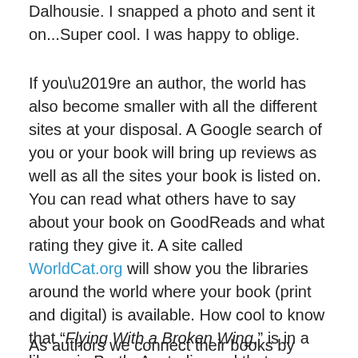Dalhousie. I snapped a photo and sent it on...Super cool. I was happy to oblige.
If you’re an author, the world has also become smaller with all the different sites at your disposal. A Google search of you or your book will bring up reviews as well as all the sites your book is listed on. You can read what others have to say about your book on GoodReads and what rating they give it. A site called WorldCat.org will show you the libraries around the world where your book (print and digital) is available. How cool to know that “Flying With a Broken Wing,” is in a library in Perth, Australia, and that someone in Singapore can sign out a copy of “Bitter, Sweet” and read about life in little old East Dalhousie, Nova Scotia—my backyard yet a totally different world for them.
As authors we connect their books by printing...